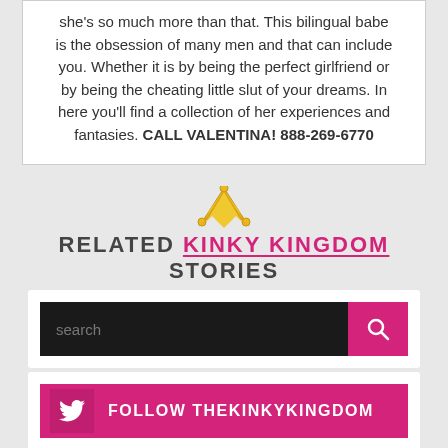she's so much more than that. This bilingual babe is the obsession of many men and that can include you. Whether it is by being the perfect girlfriend or by being the cheating little slut of your dreams. In here you'll find a collection of her experiences and fantasies. CALL VALENTINA! 888-269-6770
RELATED KINKY KINGDOM STORIES
[Figure (screenshot): Search bar with dark background and pink search button with magnifying glass icon]
[Figure (screenshot): Pink Twitter follow bar with Twitter bird icon and text FOLLOW THEKINKYKINGDOM]